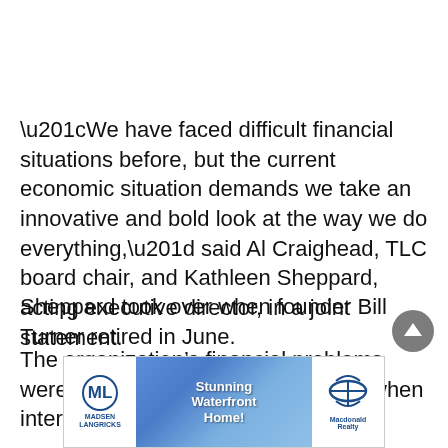“We have faced difficult financial situations before, but the current economic situation demands we take an innovative and bold look at the way we do everything,” said Al Craighead, TLC board chair, and Kathleen Sheppard, acting executive director, in a joint statement.
Sheppard took over when founder Bill Turner retired in June.
The organization’s financial problems were apparent as far back as 2009, when internal disagreements boiled into the
[Figure (advertisement): Advertisement banner for Madsen Langricks real estate with Macdonald Realty showing a waterfront home photo and text 'Stunning Waterfront Home!']